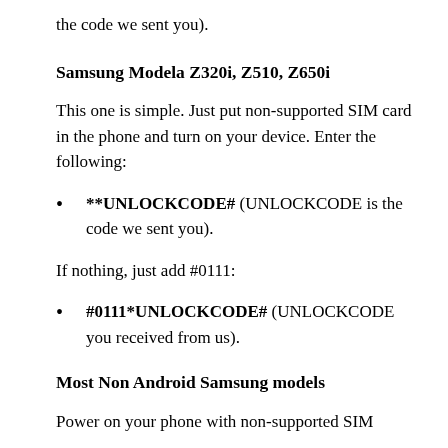the code we sent you).
Samsung Modela Z320i, Z510, Z650i
This one is simple. Just put non-supported SIM card in the phone and turn on your device. Enter the following:
**UNLOCKCODE# (UNLOCKCODE is the code we sent you).
If nothing, just add #0111:
#0111*UNLOCKCODE# (UNLOCKCODE you received from us).
Most Non Android Samsung models
Power on your phone with non-supported SIM